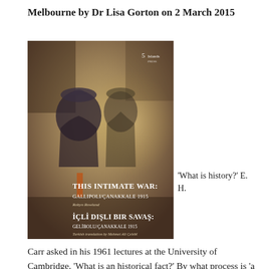Melbourne by Dr Lisa Gorton on 2 March 2015
[Figure (photo): Book cover of 'This Intimate War: Gallipoli/Çanakkale 1915' by Robyn Rowland, also showing Turkish translation 'İçli Dışlı Bir Savaş: Gelibolu/Çanakkale 1915', Turkish translation by Mehmet Ali Çelebî. Published by 5 Islands Press. Cover shows a painterly image of two figures in military attire.]
'What is history?' E. H. Carr asked in his 1961 lectures at the University of Cambridge. 'What is an historical fact?' By what process is 'a mere fact about the past transformed into a fact of